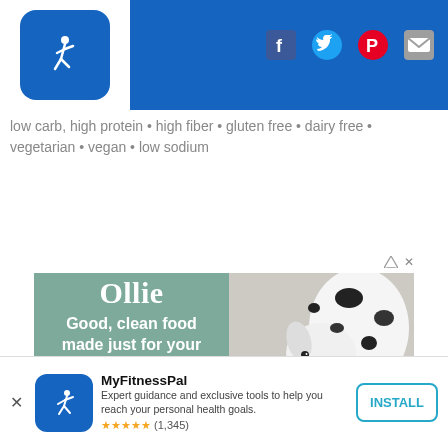MyFitnessPal logo and social media icons (Facebook, Twitter, Pinterest, Mail)
low carb, high protein • high fiber • gluten free • dairy free • vegetarian • vegan • low sodium
[Figure (photo): Ollie dog food advertisement: left panel with teal/sage background showing brand name 'Ollie', tagline 'Good, clean food made just for your pup', CTA button 'Get 60% Off Now'; right panel showing a Dalmatian dog eating from a bowl held by a human hand.]
MyFitnessPal — Expert guidance and exclusive tools to help you reach your personal health goals. ★★★★★ (1,345) — INSTALL